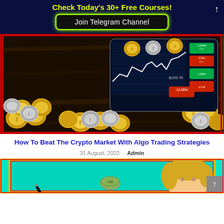Check Today's 30+ Free Courses!
Join Telegram Channel
[Figure (photo): Cryptocurrency coins (gold Bitcoin and silver coins) scattered on a dark surface next to a tablet displaying a crypto trading chart with price line and red/green trading tiles showing -12.88% and $159.75]
How To Beat The Crypto Market With Algo Trading Strategies
31 August, 2022 · Admin
[Figure (photo): Partial view of a teal/cyan background image showing a pen, a rolled bundle of US dollar bills, and a partial view of a blonde person's head — appears to be a financial course or tutorial thumbnail]